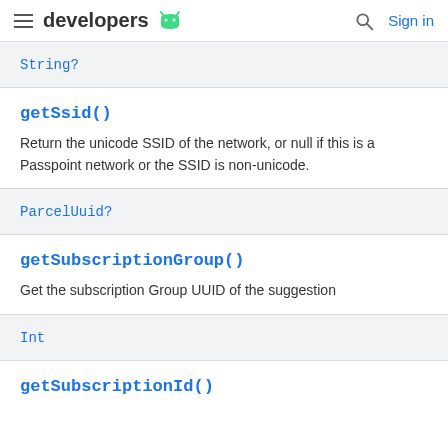developers (Android logo) | Search | Sign in
String?
getSsid()
Return the unicode SSID of the network, or null if this is a Passpoint network or the SSID is non-unicode.
ParcelUuid?
getSubscriptionGroup()
Get the subscription Group UUID of the suggestion
Int
getSubscriptionId()